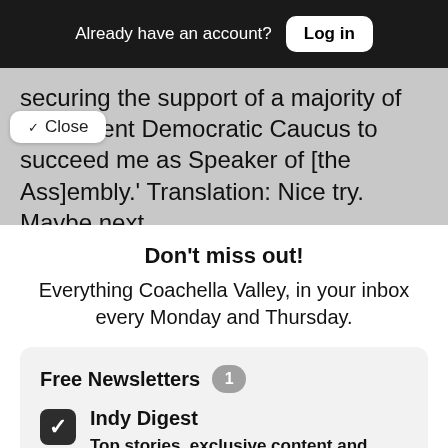Already have an account? Log in
securing the support of a majority of the current Democratic Caucus to succeed me as Speaker of [the Ass]embly.' Translation: Nice try. Maybe next
✓ Close
Don't miss out!
Everything Coachella Valley, in your inbox every Monday and Thursday.
Free Newsletters 1
Indy Digest — Top stories, exclusive content and curated links to reporting about the Coachella Valley, every Monday and Thursday.